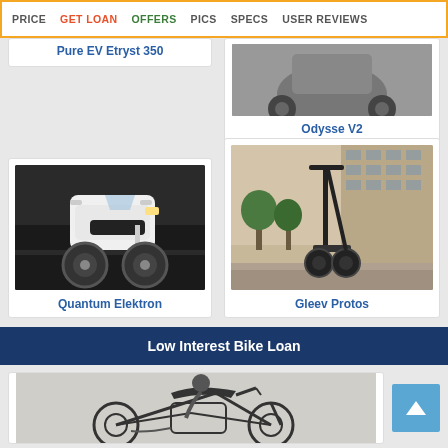PRICE  GET LOAN  OFFERS  PICS  SPECS  USER REVIEWS
Pure EV Etryst 350
[Figure (photo): Odysse V2 electric scooter image]
Odysse V2
[Figure (photo): Quantum Elektron white electric scooter on street at night]
Quantum Elektron
[Figure (photo): Gleev Protos electric scooter standing in front of building]
Gleev Protos
Low Interest Bike Loan
[Figure (illustration): Illustration of a motorcycle for bike loan section]